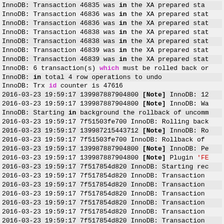InnoDB: Transaction 46835 was in the XA prepared state (truncated)
InnoDB: Transaction 46836 was in the XA prepared state (truncated)
InnoDB: Transaction 46836 was in the XA prepared state (truncated)
InnoDB: Transaction 46838 was in the XA prepared state (truncated)
InnoDB: Transaction 46838 was in the XA prepared state (truncated)
InnoDB: Transaction 46839 was in the XA prepared state (truncated)
InnoDB: Transaction 46839 was in the XA prepared state (truncated)
InnoDB: 6 transaction(s) which must be rolled back or
InnoDB: in total 4 row operations to undo
InnoDB: Trx id counter is 47616
2016-03-23 19:59:17 139987887904800 [Note] InnoDB: 12...
2016-03-23 19:59:17 139987887904800 [Note] InnoDB: Wa...
InnoDB: Starting in background the rollback of uncomm...
2016-03-23 19:59:17 7f51503fe700 InnoDB: Rolling back...
2016-03-23 19:59:17 139987215443712 [Note] InnoDB: Ro...
2016-03-23 19:59:17 7f51503fe700 InnoDB: Rollback of...
2016-03-23 19:59:17 139987887904800 [Note] InnoDB: Pe...
2016-03-23 19:59:17 139987887904800 [Note] Plugin 'FEDERATED'...
2016-03-23 19:59:17 7f517854d820 InnoDB: Starting rec...
2016-03-23 19:59:17 7f517854d820 InnoDB: Transaction
2016-03-23 19:59:17 7f517854d820 InnoDB: Transaction
2016-03-23 19:59:17 7f517854d820 InnoDB: Transaction
2016-03-23 19:59:17 7f517854d820 InnoDB: Transaction
2016-03-23 19:59:17 7f517854d820 InnoDB: Transaction
2016-03-23 19:59:17 7f517854d820 InnoDB: Transaction
2016-03-23 19:59:17 7f517854d820 InnoDB: Transaction
2016-03-23 19:59:17 7f517854d820 InnoDB: Transaction
2016-03-23 19:59:17 7f517854d820 InnoDB: Transaction
2016-03-23 19:59:17 7f517854d820 InnoDB: Transaction (truncated)